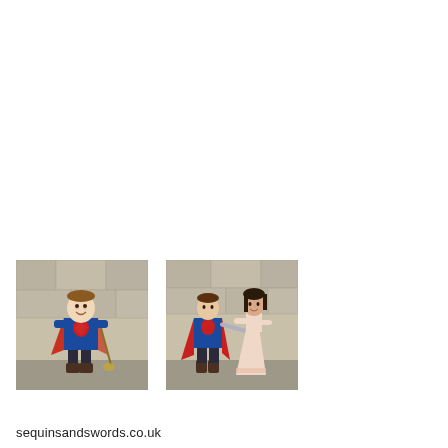[Figure (photo): A young boy dressed in a blue and red knight costume with a cape, standing in front of a stone wall background, smiling and holding a toy broom or sword.]
[Figure (photo): A boy in a blue and red knight costume with a red cape and a girl in a pink princess dress, facing each other and holding hands or a toy sword, standing in front of a stone wall.]
sequinsandswords.co.uk